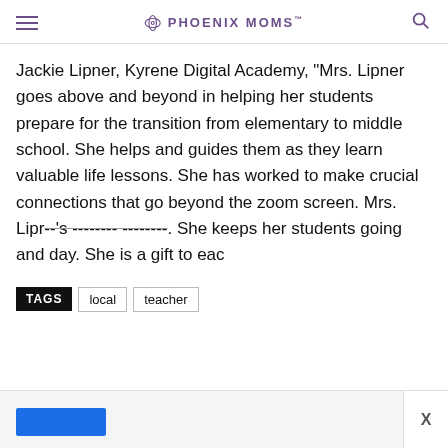PHOENIX MOMS
Jackie Lipner, Kyrene Digital Academy, “Mrs. Lipner goes above and beyond in helping her students prepare for the transition from elementary to middle school. She helps and guides them as they learn valuable life lessons. She has worked to make crucial connections that go beyond the zoom screen. Mrs. Lipr--'s -------- contagious. She keeps her students going and day. She is a gift to eac
TAGS  local  teacher